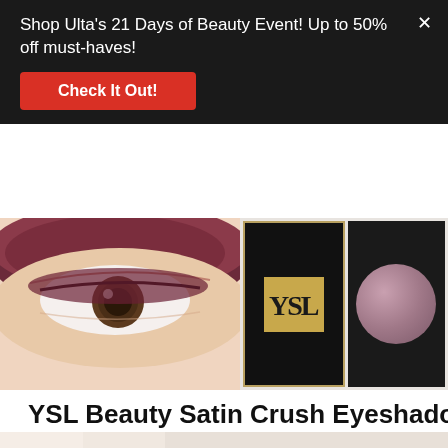Shop Ulta's 21 Days of Beauty Event! Up to 50% off must-haves!
Check It Out!
[Figure (photo): Close-up of an eye with dark reddish-burgundy eyeshadow applied, alongside two YSL Beauty product shots: one showing the compact with YSL logo on black background with gold trim, and another showing a round mauve/pink eyeshadow pan on black background]
YSL Beauty Satin Crush Eyeshadows
[Figure (photo): Three hands of different skin tones holding YSL Beauty Satin Crush eyeshadow compacts, plus a marble-surface flat-lay of the product]